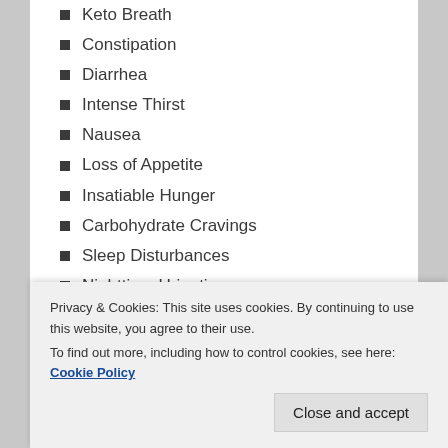Keto Breath
Constipation
Diarrhea
Intense Thirst
Nausea
Loss of Appetite
Insatiable Hunger
Carbohydrate Cravings
Sleep Disturbances
Nighttime Urination
Severe Headaches
General Achiness
Hot Flashes
[Figure (other): Dark black banner/bar at bottom of content area]
Privacy & Cookies: This site uses cookies. By continuing to use this website, you agree to their use. To find out more, including how to control cookies, see here: Cookie Policy